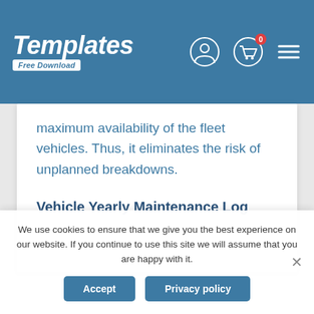Templates Free Download
maximum availability of the fleet vehicles. Thus, it eliminates the risk of unplanned breakdowns.
Vehicle Yearly Maintenance Log
We use cookies to ensure that we give you the best experience on our website. If you continue to use this site we will assume that you are happy with it.